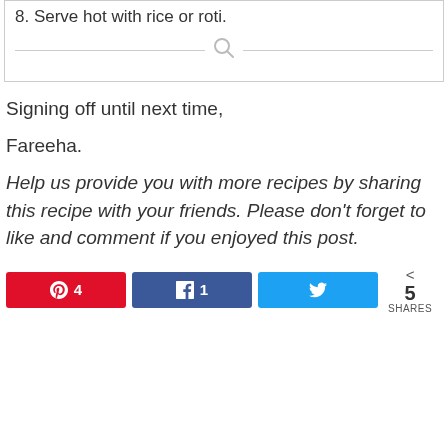8. Serve hot with rice or roti.
Signing off until next time,
Fareeha.
Help us provide you with more recipes by sharing this recipe with your friends. Please don't forget to like and comment if you enjoyed this post.